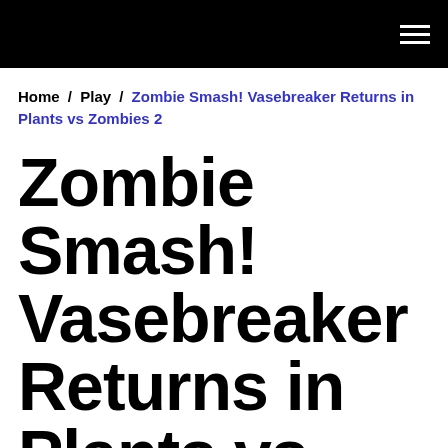Home / Play / Zombie Smash! Vasebreaker Returns in Plants vs Zombies 2
Zombie Smash! Vasebreaker Returns in Plants vs Zombies 2
By Nadia Oxford | 8 years ago